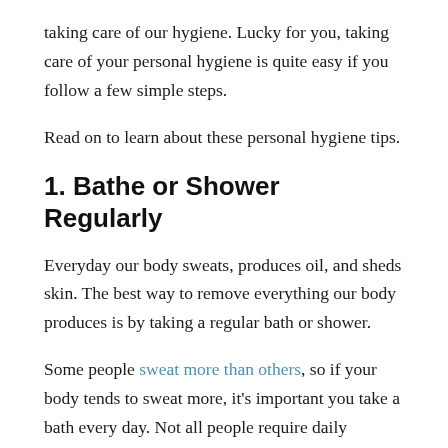taking care of our hygiene. Lucky for you, taking care of your personal hygiene is quite easy if you follow a few simple steps.
Read on to learn about these personal hygiene tips.
1. Bathe or Shower Regularly
Everyday our body sweats, produces oil, and sheds skin. The best way to remove everything our body produces is by taking a regular bath or shower.
Some people sweat more than others, so if your body tends to sweat more, it’s important you take a bath every day. Not all people require daily showers, but they need